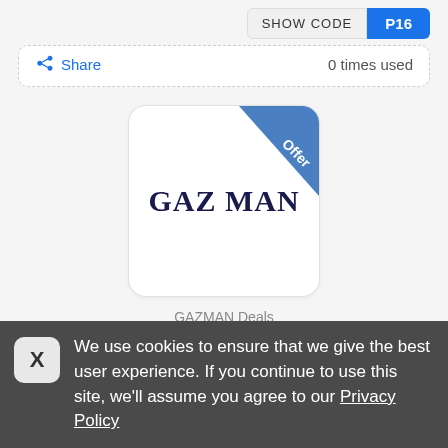SHOW CODE
Share   0 times used
[Figure (logo): GAZMAN brand logo with blue diagonal ribbon reading 'Offer' in white, on white rounded square background.]
GAZMAN Deals
GAZMAN Deals • 04/09/2022
We use cookies to ensure that we give the best user experience. If you continue to use this site, we'll assume you agree to our Privacy Policy